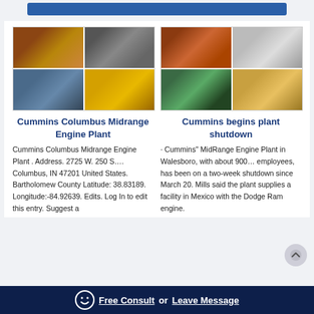[Figure (photo): Composite of 4 industrial/mining facility photos for Cummins Columbus Midrange Engine Plant article]
Cummins Columbus Midrange Engine Plant
Cummins Columbus Midrange Engine Plant . Address. 2725 W. 250 S…. Columbus, IN 47201 United States. Bartholomew County Latitude: 38.83189. Longitude:-84.92639. Edits. Log In to edit this entry. Suggest a
[Figure (photo): Composite of 4 industrial/mining facility photos for Cummins begins plant shutdown article]
Cummins begins plant shutdown
· Cummins" MidRange Engine Plant in Walesboro, with about 900… employees, has been on a two-week shutdown since March 20. Mills said the plant supplies a facility in Mexico with the Dodge Ram engine.
Free Consult  or  Leave Message